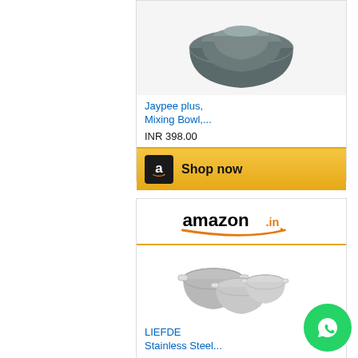[Figure (photo): Gray mixing bowl set stacked, top portion visible]
Jaypee plus, Mixing Bowl,...
INR 398.00
[Figure (logo): Amazon Shop now button with black Amazon icon on gold background]
[Figure (logo): Amazon.in logo with orange arrow]
[Figure (photo): Stainless steel mixing bowl set, multiple sizes]
LIEFDE Stainless Steel...
INR 329.00
[Figure (logo): WhatsApp green circle button icon]